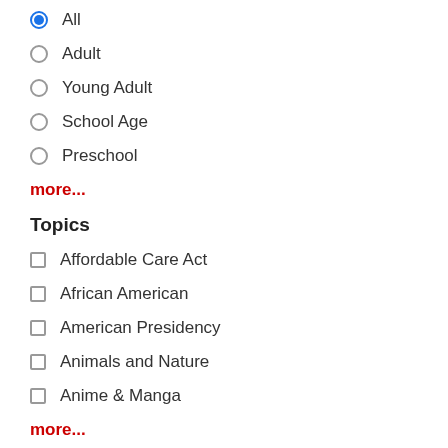All (selected)
Adult
Young Adult
School Age
Preschool
more...
Topics
Affordable Care Act
African American
American Presidency
Animals and Nature
Anime & Manga
more...